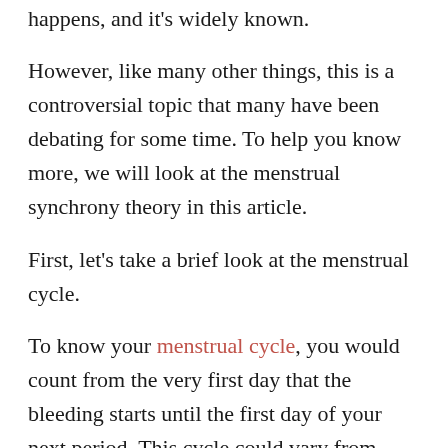happens, and it's widely known.
However, like many other things, this is a controversial topic that many have been debating for some time. To help you know more, we will look at the menstrual synchrony theory in this article.
First, let's take a brief look at the menstrual cycle.
To know your menstrual cycle, you would count from the very first day that the bleeding starts until the first day of your next period. This cycle could vary from twenty-one to thirty-five days, but it last for twenty-eight days on average. It actually occurs in four different phases which are the menses phase, follicular phase, ovulation phase, and luteal phase